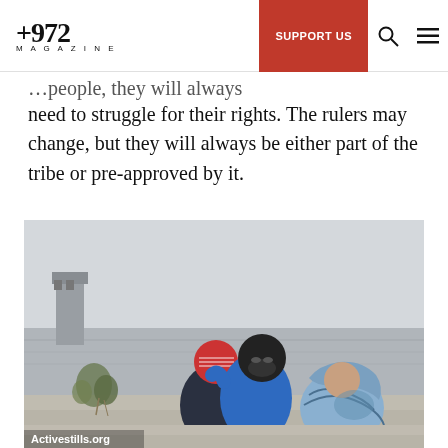+972 MAGAZINE | SUPPORT US
need to struggle for their rights. The rulers may change, but they will always be either part of the tribe or pre-approved by it.
[Figure (photo): Three people with covered heads sit on a concrete wall with a separation barrier and watchtower visible in the background. Photo credit: Activestills.org]